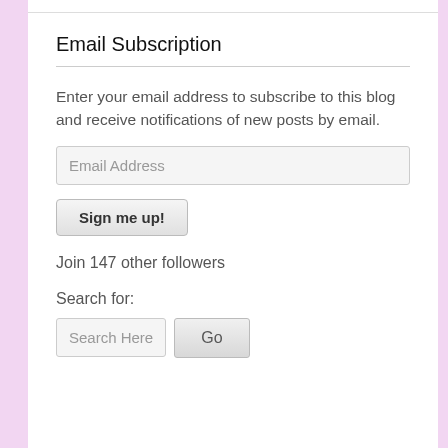Email Subscription
Enter your email address to subscribe to this blog and receive notifications of new posts by email.
Email Address
Sign me up!
Join 147 other followers
Search for:
Search Here
Go